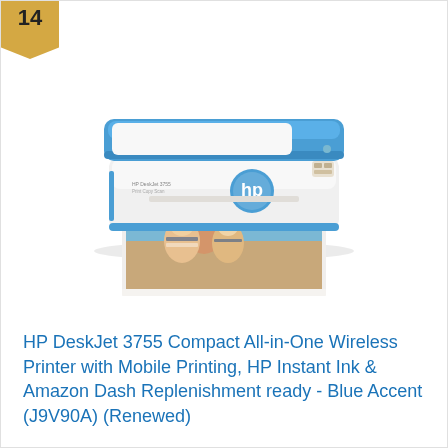14
[Figure (photo): HP DeskJet 3755 all-in-one wireless printer with blue accent trim, shown printing a photo of a woman with two young children at the beach. The printer is white with a blue scanner lid and blue accent strip, featuring the HP logo on the front panel.]
HP DeskJet 3755 Compact All-in-One Wireless Printer with Mobile Printing, HP Instant Ink & Amazon Dash Replenishment ready - Blue Accent (J9V90A) (Renewed)